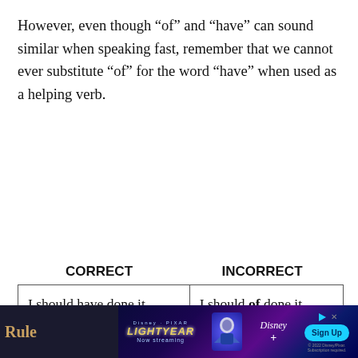However, even though “of” and “have” can sound similar when speaking fast, remember that we cannot ever substitute “of” for the word “have” when used as a helping verb.
| CORRECT | INCORRECT |
| --- | --- |
| I should have done it. | I should of done it. |
| He should have gone there. | He should of gone there. |
[Figure (other): Advertisement banner for Disney+ Lightyear movie with Sign Up button]